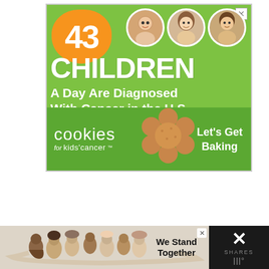[Figure (infographic): Advertisement for 'Cookies for Kids' Cancer' on a green background. Shows '43' in orange blob, three child photos in circles, large text 'CHILDREN A Day Are Diagnosed With Cancer in the U.S.', cookies for kids' cancer logo with a gingerbread cookie and text 'Let's Get Baking']
[Figure (infographic): Bottom banner advertisement showing group of people hugging from behind with text 'We Stand Together' and an X/close button. Shows SHARES label and Wattpad-style M logo.]